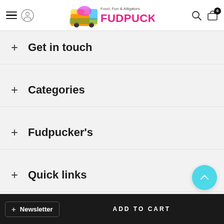Fudpucker's — Food, Fun & Alligators
+ Get in touch
+ Categories
+ Fudpucker's
+ Quick links
+ Newsletter
ADD TO CART